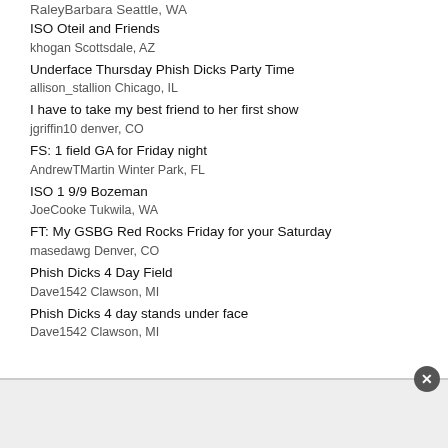ISO Oteil and Friends
khogan Scottsdale, AZ
Underface Thursday Phish Dicks Party Time
allison_stallion Chicago, IL
I have to take my best friend to her first show
jgriffin10 denver, CO
FS: 1 field GA for Friday night
AndrewTMartin Winter Park, FL
ISO 1 9/9 Bozeman
JoeCooke Tukwila, WA
FT: My GSBG Red Rocks Friday for your Saturday
masedawg Denver, CO
Phish Dicks 4 Day Field
Dave1542 Clawson, MI
Phish Dicks 4 day stands under face
Dave1542 Clawson, MI